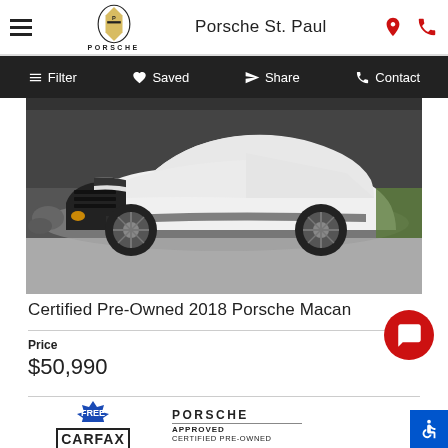Porsche St. Paul
Filter | Saved | Share | Contact
[Figure (photo): White Porsche Macan SUV photographed from front-left angle in a parking lot setting]
Certified Pre-Owned 2018 Porsche Macan
Price
$50,990
[Figure (logo): FREE CARFAX report badge and Porsche Approved Certified Pre-Owned badge]